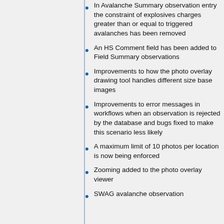In Avalanche Summary observation entry the constraint of explosives charges greater than or equal to triggered avalanches has been removed
An HS Comment field has been added to Field Summary observations
Improvements to how the photo overlay drawing tool handles different size base images
Improvements to error messages in workflows when an observation is rejected by the database and bugs fixed to make this scenario less likely
A maximum limit of 10 photos per location is now being enforced
Zooming added to the photo overlay viewer
SWAG avalanche observation